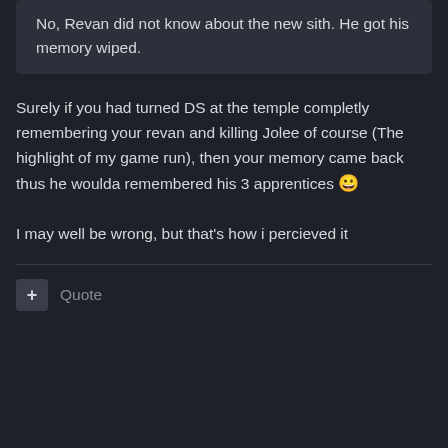No, Revan did not know about the new sith. He got his memory wiped.
Surely if you had turned DS at the temple completly remembering your revan and killing Jolee of course (The highlight of my game run), then your memory came back thus he woulda remembered his 3 apprentices 😀
I may well be wrong, but that's how i percieved it
+ Quote